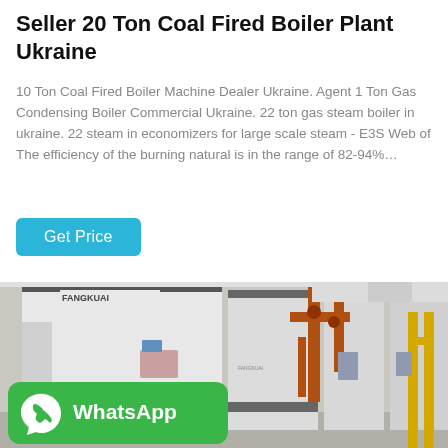Seller 20 Ton Coal Fired Boiler Plant Ukraine
10 Ton Coal Fired Boiler Machine Dealer Ukraine. Agent 1 Ton Gas Condensing Boiler Commercial Ukraine. 22 ton gas steam boiler in ukraine. 22 steam in economizers for large scale steam - E3S Web of The efficiency of the burning natural is in the range of 82-94%…
Get Price
[Figure (photo): Industrial boiler plant showing large white FANGKUAI branded boiler units with orange and yellow piping systems in an industrial facility]